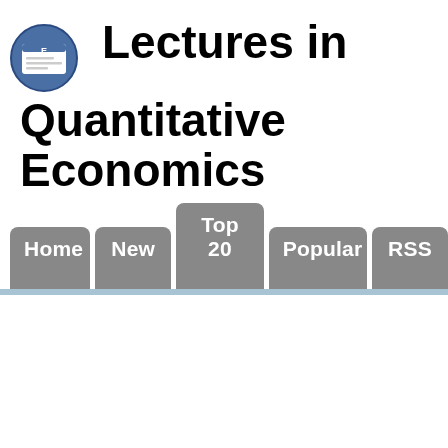Lectures in Quantitative Economics
Home | New | Top 20 | Popular | RSS